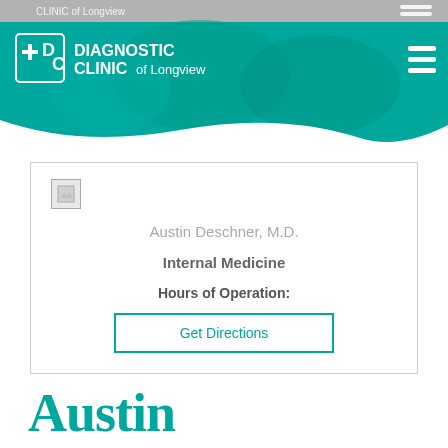[Figure (screenshot): Diagnostic Clinic of Longview website header with teal background, logo, and photo overlay of medical staff]
DIAGNOSTIC CLINIC of Longview
[Figure (other): Broken image placeholder for doctor photo]
Austin Deschner, M.D.
Internal Medicine
Hours of Operation:
Get Directions
Austin